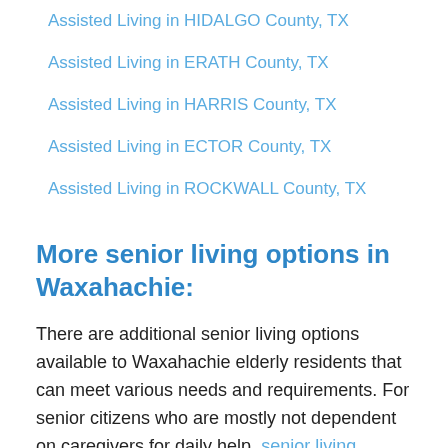Assisted Living in HIDALGO County, TX
Assisted Living in ERATH County, TX
Assisted Living in HARRIS County, TX
Assisted Living in ECTOR County, TX
Assisted Living in ROCKWALL County, TX
More senior living options in Waxahachie:
There are additional senior living options available to Waxahachie elderly residents that can meet various needs and requirements. For senior citizens who are mostly not dependent on caregivers for daily help, senior living communities in Waxahachie, TX can offer well-